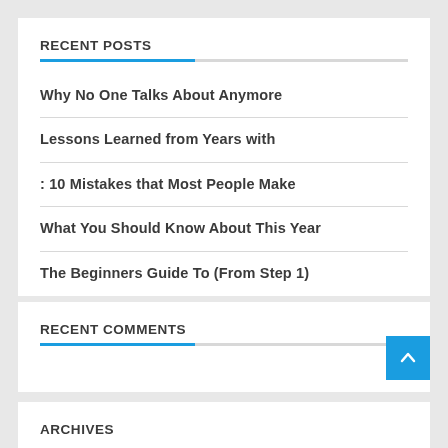RECENT POSTS
Why No One Talks About Anymore
Lessons Learned from Years with
: 10 Mistakes that Most People Make
What You Should Know About This Year
The Beginners Guide To (From Step 1)
RECENT COMMENTS
ARCHIVES